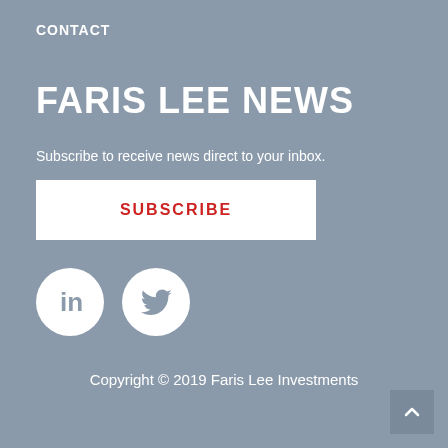CONTACT
FARIS LEE NEWS
Subscribe to receive news direct to your inbox.
SUBSCRIBE
[Figure (illustration): LinkedIn and Twitter social media icon circles in white on grey background]
Copyright © 2019 Faris Lee Investments